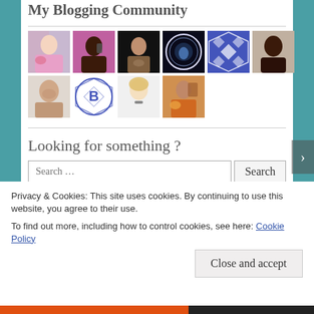My Blogging Community
[Figure (photo): Grid of 10 blogger profile avatar photos/icons arranged in two rows]
Looking for something ?
Search …
Privacy & Cookies: This site uses cookies. By continuing to use this website, you agree to their use.
To find out more, including how to control cookies, see here: Cookie Policy
Close and accept